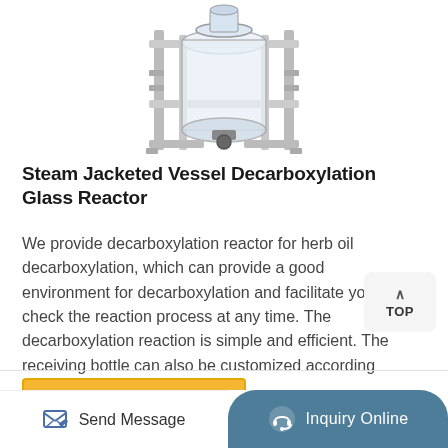[Figure (photo): Steam jacketed vessel decarboxylation glass reactor product photo showing a tall glass vessel in a stainless steel frame with fittings and a bottom valve, viewed from the front, partially cropped at top.]
Steam Jacketed Vessel Decarboxylation Glass Reactor
We provide decarboxylation reactor for herb oil decarboxylation, which can provide a good environment for decarboxylation and facilitate you to check the reaction process at any time. The decarboxylation reaction is simple and efficient. The receiving bottle can also be customized according to the demand.
More Product
Send Message
Inquiry Online